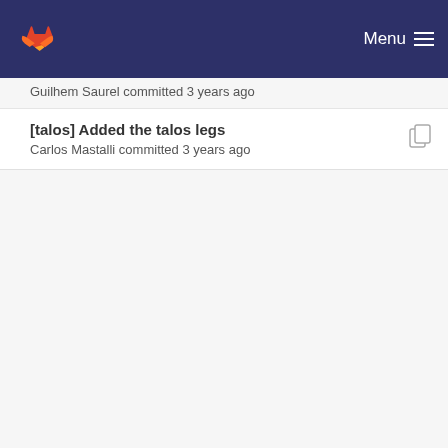Menu
Guilhem Saurel committed 3 years ago
[talos] Added the talos legs
Carlos Mastalli committed 3 years ago